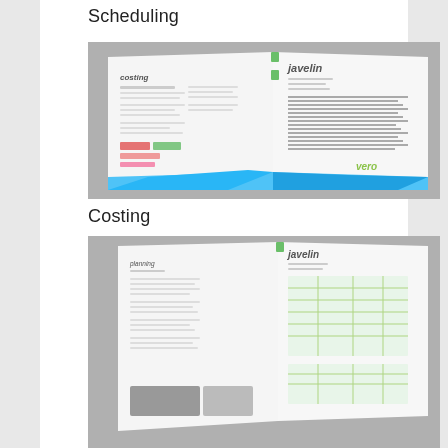Scheduling
[Figure (photo): Open Javelin brochure showing costing page on left and scheduling/Gantt chart page on right with vero branding and blue geometric banner at bottom]
Costing
[Figure (photo): Open Javelin brochure showing text page on left and green table/spreadsheet pages on right, partially cropped at bottom]